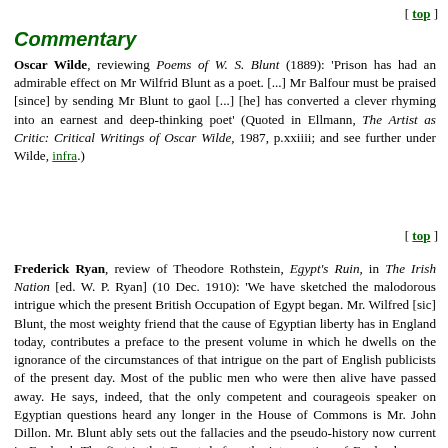[ top ]
Commentary
Oscar Wilde, reviewing Poems of W. S. Blunt (1889): ‘Prison has had an admirable effect on Mr Wilfrid Blunt as a poet. [...] Mr Balfour must be praised [since] by sending Mr Blunt to gaol [...] [he] has converted a clever rhyming into an earnest and deep-thinking poet’ (Quoted in Ellmann, The Artist as Critic: Critical Writings of Oscar Wilde, 1987, p.xxiiii; and see further under Wilde, infra.)
[ top ]
Frederick Ryan, review of Theodore Rothstein, Egypt’s Ruin, in The Irish Nation [ed. W. P. Ryan] (10 Dec. 1910): ‘We have sketched the malodorous intrigue which the present British Occupation of Egypt began. Mr. Wilfred [sic] Blunt, the most weighty friend that the cause of Egyptian liberty has in England today, contributes a preface to the present volume in which he dwells on the ignorance of the circumstances of that intrigue on the part of English publicists of the present day. Most of the public men who were then alive have passed away. He says, indeed, that the only competent and courageois speaker on Egyptian questions heard any longer in the House of Commons is Mr. John Dillon. Mr. Blunt ably sets out the fallacies and the pseudo-history now current in England. The first is that Egypt, before the intervention of England, was a barbarous land, where universal ignorance prevailed, and where there were neither law nor order, nor the common safeguards of life and property. Another statement to be found...